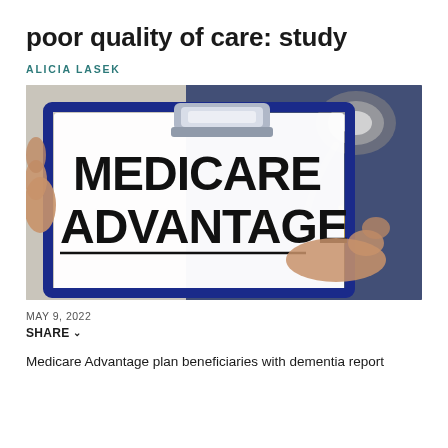poor quality of care: study
ALICIA LASEK
[Figure (photo): Photograph of a clipboard with a paper reading 'MEDICARE ADVANTAGE' in bold black text, held by hands, with a stethoscope visible in the background on a blue surface.]
MAY 9, 2022
SHARE
Medicare Advantage plan beneficiaries with dementia report